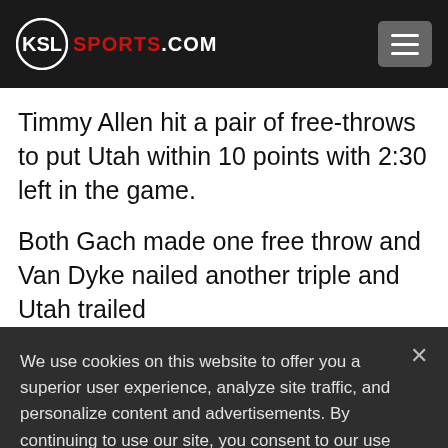KSL SPORTS.COM
Timmy Allen hit a pair of free-throws to put Utah within 10 points with 2:30 left in the game.
Both Gach made one free throw and Van Dyke nailed another triple and Utah trailed
We use cookies on this website to offer you a superior user experience, analyze site traffic, and personalize content and advertisements. By continuing to use our site, you consent to our use of cookies. Please visit our Privacy Policy for more information.
Accept Cookies